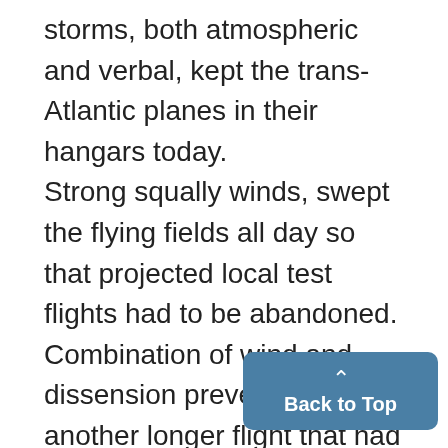storms, both atmospheric and verbal, kept the trans-Atlantic planes in their hangars today. Strong squally winds, swept the flying fields all day so that projected local test flights had to be abandoned. Combination of wind and dissension prevented another longer flight that had been announced at noon for this afternoon. During the morning, the crews of all three planes which plan the hop, worked around the hanga